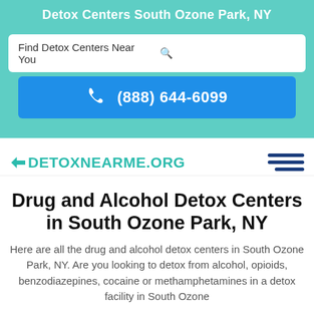Detox Centers South Ozone Park, NY
Find Detox Centers Near You
(888) 644-6099
[Figure (logo): DetoxNearMe.org logo with teal arrow and text, plus hamburger menu icon]
Drug and Alcohol Detox Centers in South Ozone Park, NY
Here are all the drug and alcohol detox centers in South Ozone Park, NY. Are you looking to detox from alcohol, opioids, benzodiazepines, cocaine or methamphetamines in a detox facility in South Ozone